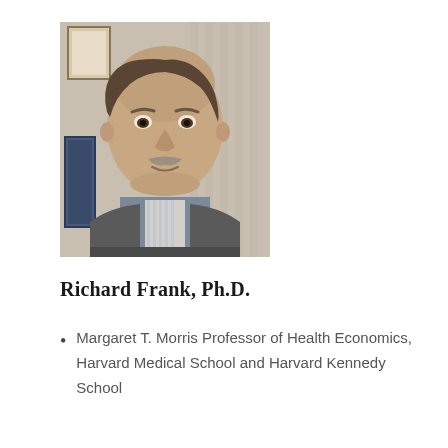[Figure (photo): Headshot photograph of Richard Frank, Ph.D. — a middle-aged man with a grey mustache wearing a grey sweater over a striped collared shirt, smiling slightly, with framed items visible in the background.]
Richard Frank, Ph.D.
Margaret T. Morris Professor of Health Economics, Harvard Medical School and Harvard Kennedy School